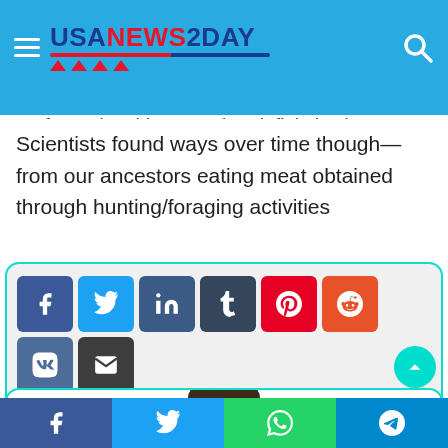USANEWS2DAY
looking more or less just like a little ball with some redduce and our own ancestors perhaps humans? Fingers maybe not yet formed at this stage, but definitely absent none-the-least
Scientists found ways over time though—from our ancestors eating meat obtained through hunting/foraging activities
[Figure (infographic): Social share buttons row: Facebook (blue), Twitter (light blue), LinkedIn (dark blue), Tumblr (dark blue), Pinterest (red), Reddit (orange-red), VK (steel blue), Email (dark gray), Print (dark gray)]
[Figure (photo): Photo of a smiling young man with curly dark hair, wearing a light gray shirt, photographed from the chest up against a white background]
Facebook | Twitter | WhatsApp | Telegram share bar at the bottom